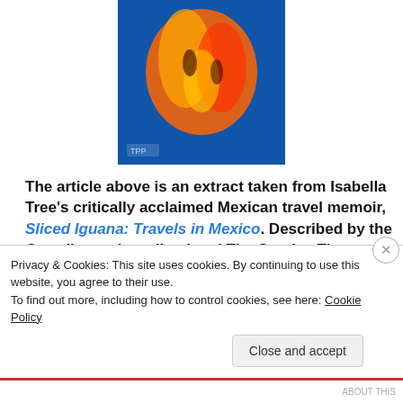[Figure (photo): Book cover image with orange/red neon-style graphic on blue background, with 'TPP' watermark]
The article above is an extract taken from Isabella Tree's critically acclaimed Mexican travel memoir, Sliced Iguana: Travels in Mexico. Described by the Guardian as 'excellent' and The Sunday Times as 'enormous fun', Isabella Tree threads the brightly coloured history of Mexico through her narrative and tells the stories of the people that have defined its
Privacy & Cookies: This site uses cookies. By continuing to use this website, you agree to their use.
To find out more, including how to control cookies, see here: Cookie Policy
Close and accept